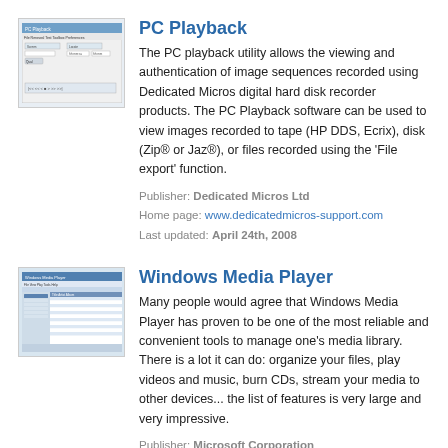[Figure (screenshot): Screenshot of PC Playback application window with menu bar and playback controls]
PC Playback
The PC playback utility allows the viewing and authentication of image sequences recorded using Dedicated Micros digital hard disk recorder products. The PC Playback software can be used to view images recorded to tape (HP DDS, Ecrix), disk (Zip® or Jaz®), or files recorded using the 'File export' function.
Publisher: Dedicated Micros Ltd
Home page: www.dedicatedmicros-support.com
Last updated: April 24th, 2008
[Figure (screenshot): Screenshot of Windows Media Player showing a media library list with blue header]
Windows Media Player
Many people would agree that Windows Media Player has proven to be one of the most reliable and convenient tools to manage one's media library. There is a lot it can do: organize your files, play videos and music, burn CDs, stream your media to other devices... the list of features is very large and very impressive.
Publisher: Microsoft Corporation
Home page: support.microsoft.com
Last updated: September 15th, 2021